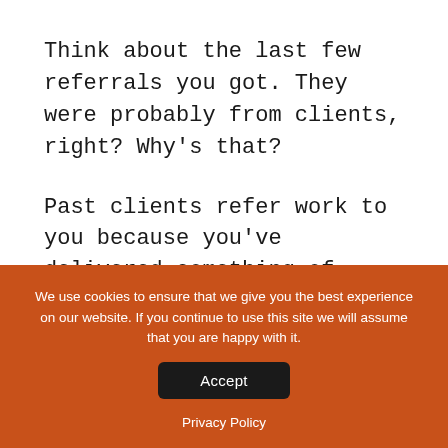Think about the last few referrals you got. They were probably from clients, right? Why's that?
Past clients refer work to you because you've delivered something of value to them in the past (you're legitimate) and you've remained top-of-mind. So when they're talking to a peer who might need some help, you come up and
We use cookies to ensure that we give you the best experience on our website. If you continue to use this site we will assume that you are happy with it.
Accept
Privacy Policy